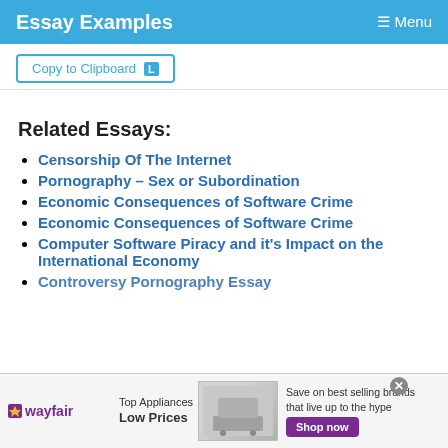Essay Examples  Menu
Copy to Clipboard
Related Essays:
Censorship Of The Internet
Pornography – Sex or Subordination
Economic Consequences of Software Crime
Economic Consequences of Software Crime
Computer Software Piracy and it's Impact on the International Economy
Controversy Pornography Essay
[Figure (infographic): Wayfair advertisement banner: Top Appliances Low Prices, Save on best selling brands that live up to the hype, Shop now button]